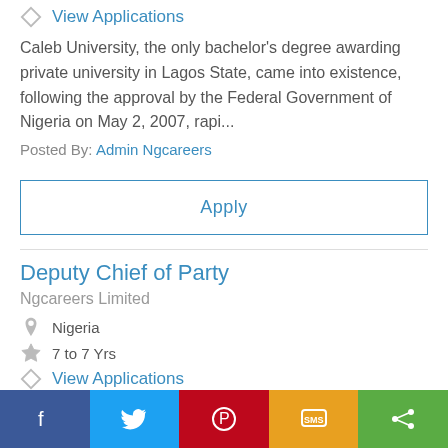View Applications
Caleb University, the only bachelor's degree awarding private university in Lagos State, came into existence, following the approval by the Federal Government of Nigeria on May 2, 2007, rapi...
Posted By: Admin Ngcareers
Apply
Deputy Chief of Party
Ngcareers Limited
Nigeria
7 to 7 Yrs
View Applications
Global Communities (formerly CHF